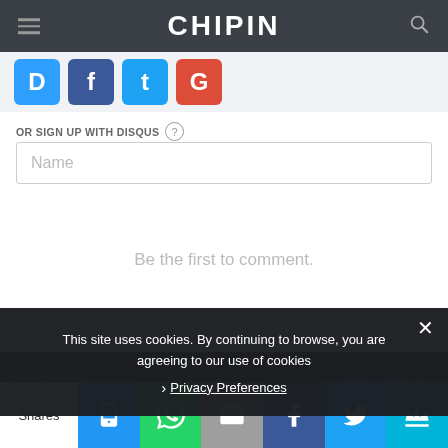CHIPIN
[Figure (screenshot): Social login icons row: Disqus (D), Facebook (f), Twitter (t), Google (G) colored circles]
OR SIGN UP WITH DISQUS
Name
Be the first to comment.
This site uses cookies. By continuing to browse, you are agreeing to our use of cookies
Privacy Preferences
Shares